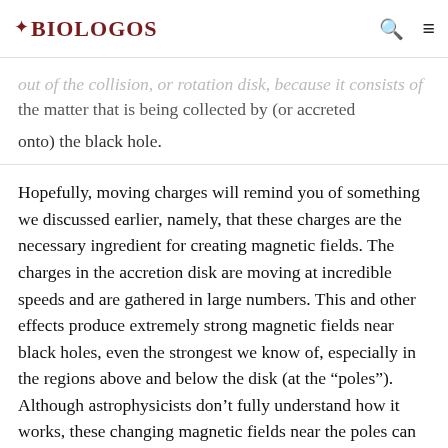BioLogos
out of the collision, or rotation disk, because it consists of the matter that is being collected by (or accreted onto) the black hole.
Hopefully, moving charges will remind you of something we discussed earlier, namely, that these charges are the necessary ingredient for creating magnetic fields. The charges in the accretion disk are moving at incredible speeds and are gathered in large numbers. This and other effects produce extremely strong magnetic fields near black holes, even the strongest we know of, especially in the regions above and below the disk (at the “poles”). Although astrophysicists don’t fully understand how it works, these changing magnetic fields near the poles can start to function like some sort of cosmic launching